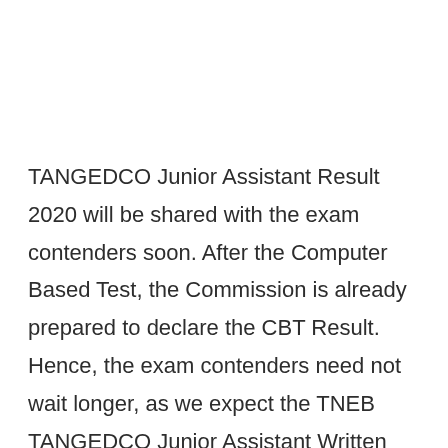TANGEDCO Junior Assistant Result 2020 will be shared with the exam contenders soon. After the Computer Based Test, the Commission is already prepared to declare the CBT Result. Hence, the exam contenders need not wait longer, as we expect the TNEB TANGEDCO Junior Assistant Written Result 2020 will be unveiled by June 2020.